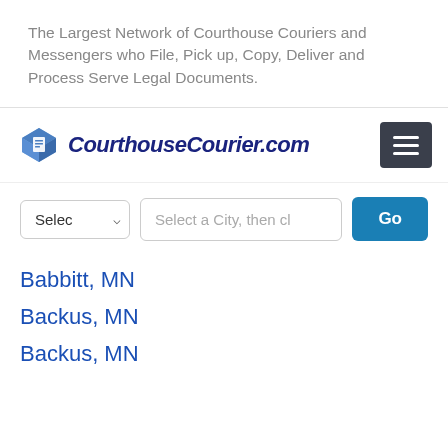The Largest Network of Courthouse Couriers and Messengers who File, Pick up, Copy, Deliver and Process Serve Legal Documents.
[Figure (logo): CourthouseCourier.com logo with blue diamond/document icon and italic bold dark navy text]
Selec [dropdown] | Select a City, then cl [text input] | Go [button]
Babbitt, MN
Backus, MN
Backus, MN (partial, cut off)